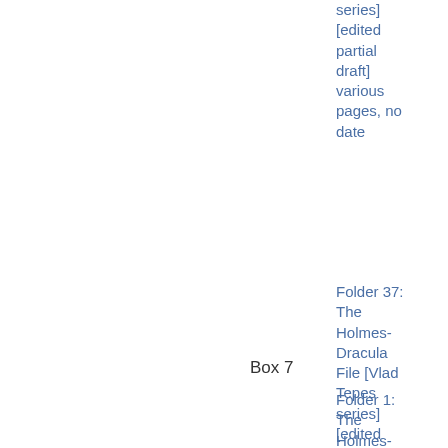series] [edited partial draft] various pages, no date
Folder 37: The Holmes-Dracula File [Vlad Tepes series] [edited partial draft] various pages, no date
Box 7
Folder 1: The Holmes-Dracula File [Vlad Tepes